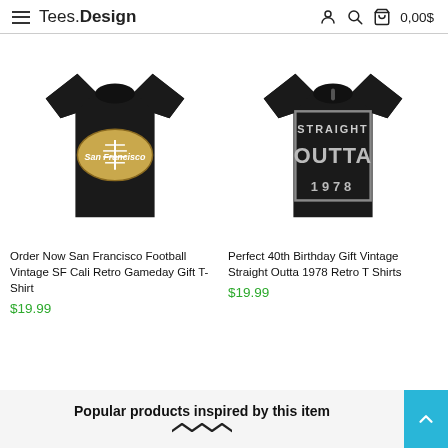Tees.Design  0,00$
[Figure (photo): Black t-shirt with San Francisco football (golden football with 'San Francisco' script) design]
Order Now San Francisco Football Vintage SF Cali Retro Gameday Gift T-Shirt
$19.99
[Figure (photo): Black t-shirt with 'STRAIGHT OUTTA 1978 RETRO' distressed graphic design in a box]
Perfect 40th Birthday Gift Vintage Straight Outta 1978 Retro T Shirts
$19.99
Popular products inspired by this item